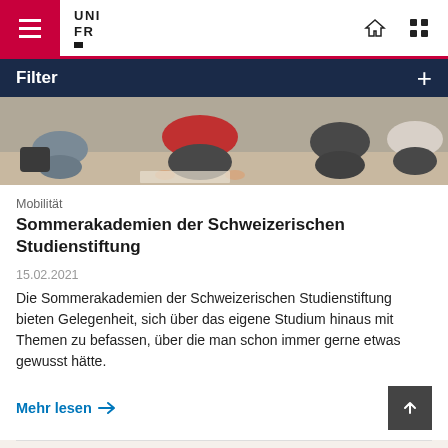UNI FR
Filter
[Figure (photo): Students sitting on floor working on papers/materials together, seen from behind/side]
Mobilität
Sommerakademien der Schweizerischen Studienstiftung
15.02.2021
Die Sommerakademien der Schweizerischen Studienstiftung bieten Gelegenheit, sich über das eigene Studium hinaus mit Themen zu befassen, über die man schon immer gerne etwas gewusst hätte.
Mehr lesen →